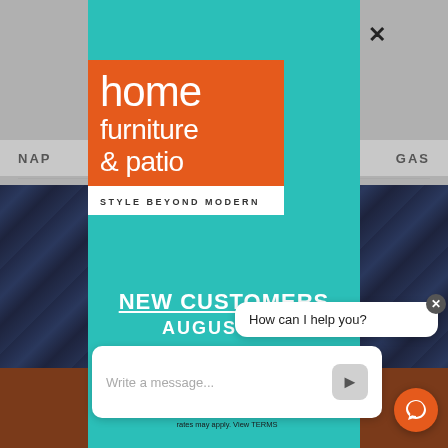[Figure (screenshot): Background website with grey nav showing 'NAP' on left and 'GAS' on right, floral blue background image, and orange-brown footer bar]
[Figure (logo): Home Furniture & Patio logo: orange square with white text 'home furniture & patio' and white tagline box reading 'STYLE BEYOND MODERN']
NEW CUSTOMERS
AUGUST SA
How can I help you?
Write a message...
By s... promotional and personalized marketing text messages (e.g. cart reminders) at the cell number used when signing up. Consent is not a condition of any purchase. Reply STOP to cancel. Msg frequency varies. Msg and data rates may apply. View TERMS